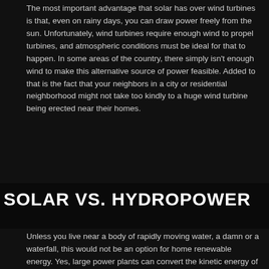The most important advantage that solar has over wind turbines is that, even on rainy days, you can draw power freely from the sun. Unfortunately, wind turbines require enough wind to propel turbines, and atmospheric conditions must be ideal for that to happen. In some areas of the country, there simply isn't enough wind to make this alternative source of power feasible. Added to that is the fact that your neighbors in a city or residential neighborhood might not take too kindly to a huge wind turbine being erected near their homes.
SOLAR VS. HYDROPOWER
Unless you live near a body of rapidly moving water, a damn or a waterfall, this would not be an option for home renewable energy. Yes, large power plants can convert the kinetic energy of rapidly moving or falling water into electricity, but those plants are situated by the requisite bodies of water. No matter where you live, the sun will shine every day. As mentioned above, even on cloudy days you will be able to draw energy, albeit reduced